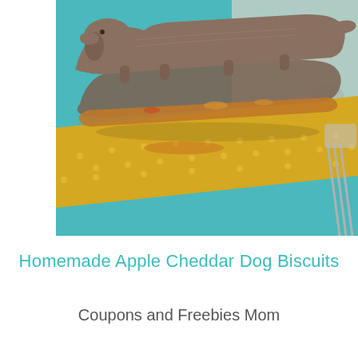[Figure (photo): Photo of homemade dog biscuits shaped like dogs/dachshunds, stacked on a yellow polka-dot ribbon/paper on a teal background. The biscuits are brown/grainy in texture with visible filling.]
Homemade Apple Cheddar Dog Biscuits
Coupons and Freebies Mom